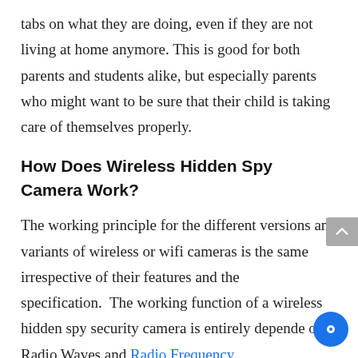tabs on what they are doing, even if they are not living at home anymore. This is good for both parents and students alike, but especially parents who might want to be sure that their child is taking care of themselves properly.
How Does Wireless Hidden Spy Camera Work?
The working principle for the different versions and variants of wireless or wifi cameras is the same irrespective of their features and the specification.  The working function of a wireless hidden spy security camera is entirely depende on Radio Waves and Radio Frequency